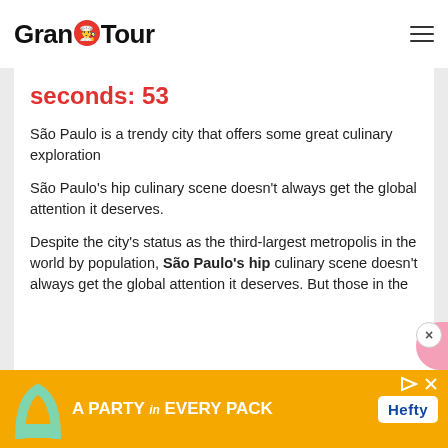Grand Tour
seconds: 53
São Paulo is a trendy city that offers some great culinary exploration
São Paulo's hip culinary scene doesn't always get the global attention it deserves.
Despite the city's status as the third-largest metropolis in the world by population, São Paulo's hip culinary scene doesn't always get the global attention it deserves. But those in the
[Figure (infographic): Advertisement banner: orange background with text 'A PARTY in EVERY PACK' and Hefty logo in blue on white, with arrow and X close icons]